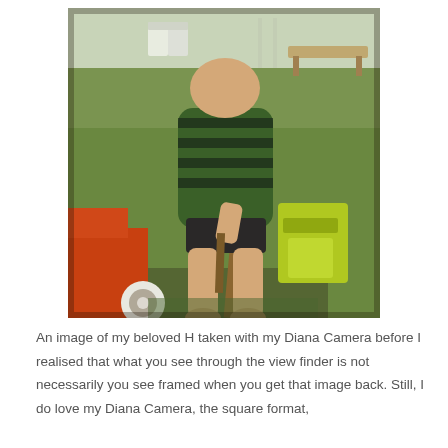[Figure (photo): A young toddler boy wearing a green and black striped polo shirt, sitting barefoot on a small wooden chair or cart in a garden/backyard. There is a red wagon on the left, a yellow-green plastic toy in the background, white chairs and a bench visible in the far background on a lawn.]
An image of my beloved H taken with my Diana Camera before I realised that what you see through the view finder is not necessarily you see framed when you get that image back. Still, I do love my Diana Camera, the square format,